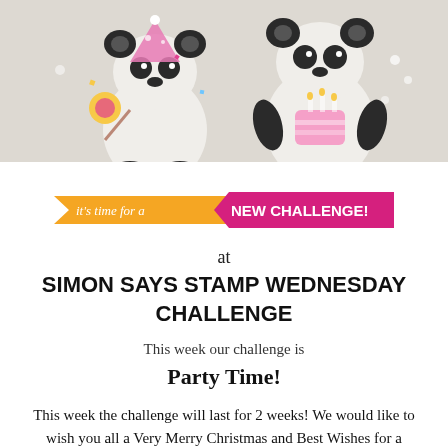[Figure (illustration): Two cartoon panda bears illustrated in pencil/watercolor style. Left panda wears a pink party hat and holds a lollipop with confetti around it. Right panda holds a pink birthday cake with candles. Light beige/gray background.]
[Figure (illustration): Banner graphic: orange arrow banner on left reading 'it's time for a' in white italic text, and a pink/magenta wider banner on right reading 'NEW CHALLENGE!' in white bold uppercase text.]
at
SIMON SAYS STAMP WEDNESDAY CHALLENGE
This week our challenge is
Party Time!
This week the challenge will last for 2 weeks! We would like to wish you all a Very Merry Christmas and Best Wishes for a